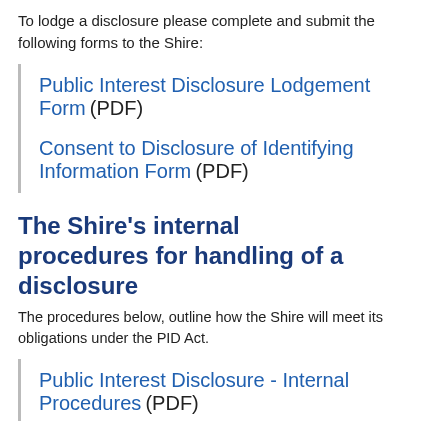To lodge a disclosure please complete and submit the following forms to the Shire:
Public Interest Disclosure Lodgement Form (PDF)
Consent to Disclosure of Identifying Information Form (PDF)
The Shire's internal procedures for handling of a disclosure
The procedures below, outline how the Shire will meet its obligations under the PID Act.
Public Interest Disclosure - Internal Procedures (PDF)